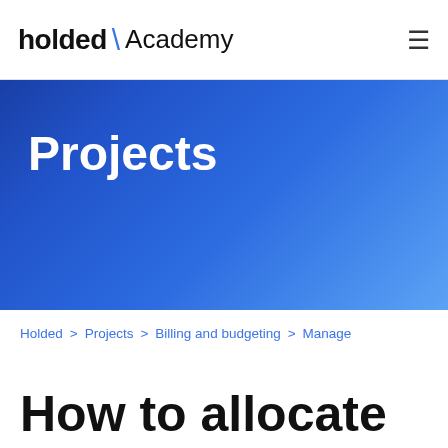holded \ Academy
[Figure (illustration): Blue gradient banner background for the Projects section header]
Projects
Holded > Projects > Billing and budgeting > Manage
How to allocate